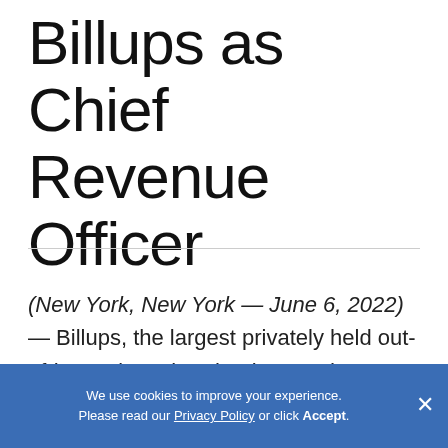Billups as Chief Revenue Officer
(New York, New York — June 6, 2022) — Billups, the largest privately held out-of-home (OOH) technology and managed services company in the U.S., today announced the hiring of Michael
We use cookies to improve your experience. Please read our Privacy Policy or click Accept.